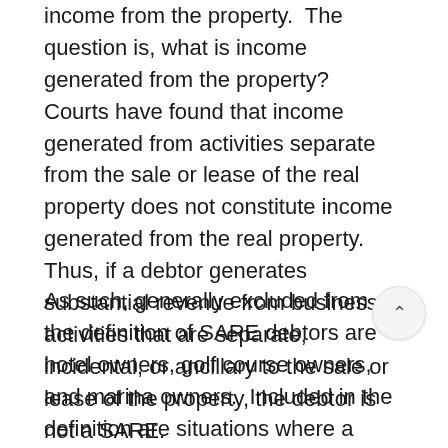income from the property.  The question is, what is income generated from the property?  Courts have found that income generated from activities separate from the sale or lease of the real property does not constitute income generated from the real property.  Thus, if a debtor generates substantial revenue from business activities that are separate, incidental, or ancillary to the sale or lease of the property, the debtor is not a SARE.
As such, generally excluded from the definition of SARE debtors are hotel owners, golf course owners, and marina owners.  Included in the definition are situations where a company owns only a single large office building, leases the property, and derives substantially all of its gross income